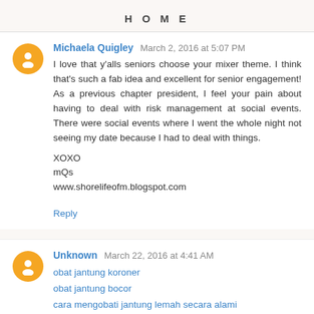HOME
Michaela Quigley March 2, 2016 at 5:07 PM
I love that y'alls seniors choose your mixer theme. I think that's such a fab idea and excellent for senior engagement! As a previous chapter president, I feel your pain about having to deal with risk management at social events. There were social events where I went the whole night not seeing my date because I had to deal with things.

XOXO
mQs
www.shorelifeofm.blogspot.com

Reply
Unknown March 22, 2016 at 4:41 AM
obat jantung koroner
obat jantung bocor
cara mengobati jantung lemah secara alami